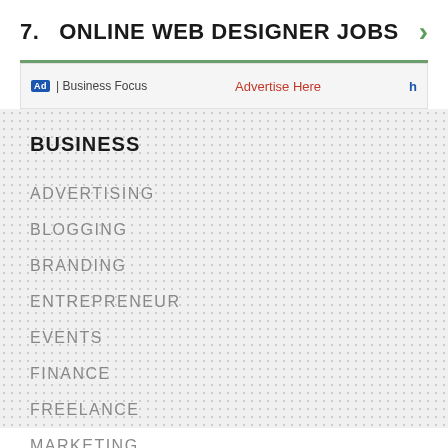7. ONLINE WEB DESIGNER JOBS
Ad | Business Focus — Advertise Here
BUSINESS
ADVERTISING
BLOGGING
BRANDING
ENTREPRENEUR
EVENTS
FINANCE
FREELANCE
MARKETING